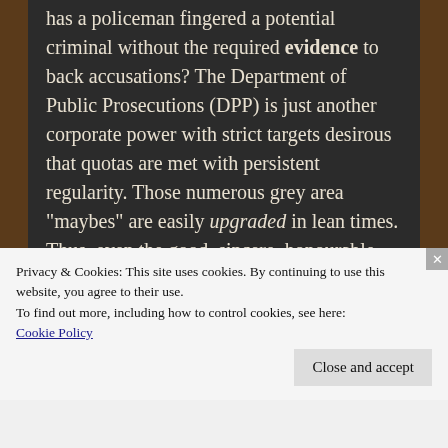has a policeman fingered a potential criminal without the required evidence to back accusations? The Department of Public Prosecutions (DPP) is just another corporate power with strict targets desirous that quotas are met with persistent regularity. Those numerous grey area "maybes" are easily upgraded in lean times. Thus, even the good, sincere, honourable police rely on perjury exemplified by their individual characters/judgements. Similar to jurors and judges, tunnel vision is an essential attribute for any would be law enforcement recruit. If a suspicious looking male passer-by is black, over six feet tall and carrying a pool cue;
Privacy & Cookies: This site uses cookies. By continuing to use this website, you agree to their use.
To find out more, including how to control cookies, see here:
Cookie Policy
Close and accept